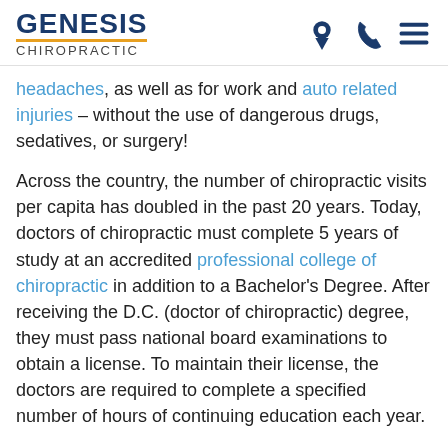GENESIS CHIROPRACTIC
headaches, as well as for work and auto related injuries – without the use of dangerous drugs, sedatives, or surgery!
Across the country, the number of chiropractic visits per capita has doubled in the past 20 years. Today, doctors of chiropractic must complete 5 years of study at an accredited professional college of chiropractic in addition to a Bachelor's Degree. After receiving the D.C. (doctor of chiropractic) degree, they must pass national board examinations to obtain a license. To maintain their license, the doctors are required to complete a specified number of hours of continuing education each year.